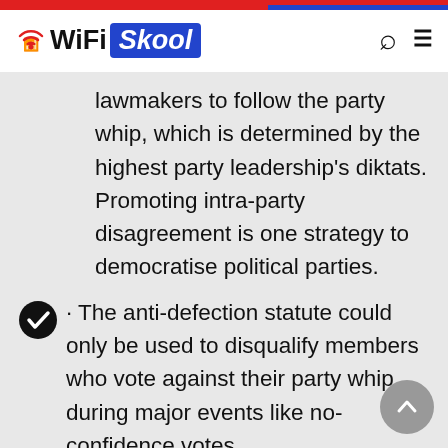WiFi Skool
lawmakers to follow the party whip, which is determined by the highest party leadership's diktats. Promoting intra-party disagreement is one strategy to democratise political parties.
· The anti-defection statute could only be used to disqualify members who vote against their party whip during major events like no-confidence votes.